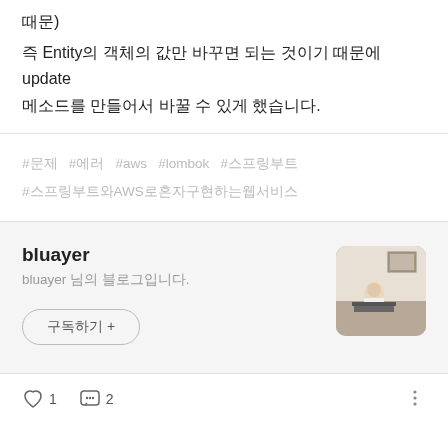때문)
즉 Entity의 객체의 값만 바꾸면 되는 것이기 때문에 update 메소드를 만들어서 바꿀 수 있게 했습니다.
#문제  #에러  #aws  #lombok  #스프링부트 #스프링부트와AWS로혼자구현하는웹서비스
bluayer
bluayer 님의 블로그입니다.
구독하기 +
♡ 1   💬 2